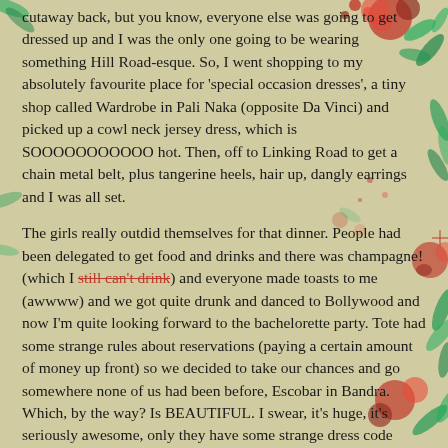cutaway back, but you know, everyone else was going to get dressed up and I was the only one going to be wearing something Hill Road-esque. So, I went shopping to my absolutely favourite place for 'special occasion dresses', a tiny shop called Wardrobe in Pali Naka (opposite Da Vinci) and picked up a cowl neck jersey dress, which is SOOOOOOOOOOO hot. Then, off to Linking Road to get a chain metal belt, plus tangerine heels, hair up, dangly earrings and I was all set.
The girls really outdid themselves for that dinner. People had been delegated to get food and drinks and there was champagne! (which I still can't drink) and everyone made toasts to me (awwww) and we got quite drunk and danced to Bollywood and now I'm quite looking forward to the bachelorette party. Tote had some strange rules about reservations (paying a certain amount of money up front) so we decided to take our chances and go somewhere none of us had been before, Escobar in Bandra. Which, by the way? Is BEAUTIFUL. I swear, it's huge, it's seriously awesome, only they have some strange dress code rules, so a friend of mine had to go back and hunt through Bandra for a shirt